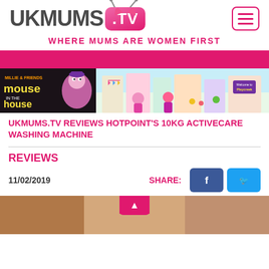[Figure (logo): UKMums.tv logo with pink TV-shaped bubble and hamburger menu icon]
WHERE MUMS ARE WOMEN FIRST
[Figure (illustration): Pink navigation bar and promotional banner with Mouse in the House cartoon and colourful toy shop scene]
UKMUMS.TV REVIEWS HOTPOINT'S 10KG ACTIVECARE WASHING MACHINE
REVIEWS
11/02/2019
SHARE:
[Figure (photo): Bottom partial photo of a washing machine or appliance in a home setting]